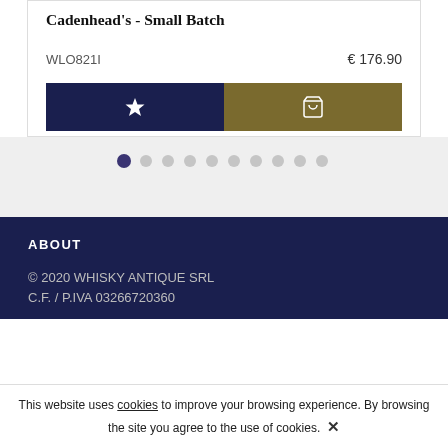Cadenhead's - Small Batch
WLO821I
€ 176.90
[Figure (other): Two buttons: a dark navy wishlist (star) button and an olive/dark-gold cart button]
[Figure (other): Pagination dots: one filled purple dot followed by 11 light gray dots]
ABOUT
© 2020 WHISKY ANTIQUE SRL
C.F. / P.IVA 03266720360
This website uses cookies to improve your browsing experience. By browsing the site you agree to the use of cookies. ✕